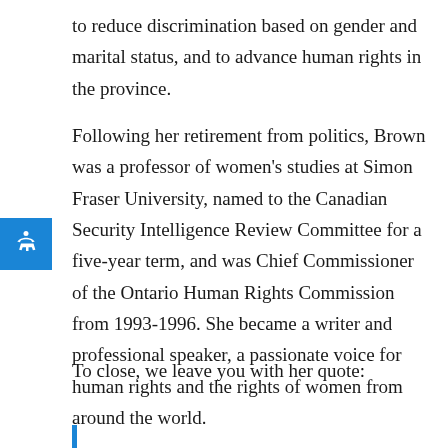to reduce discrimination based on gender and marital status, and to advance human rights in the province.
Following her retirement from politics, Brown was a professor of women's studies at Simon Fraser University, named to the Canadian Security Intelligence Review Committee for a five-year term, and was Chief Commissioner of the Ontario Human Rights Commission from 1993-1996. She became a writer and professional speaker, a passionate voice for human rights and the rights of women from around the world.
To close, we leave you with her quote: